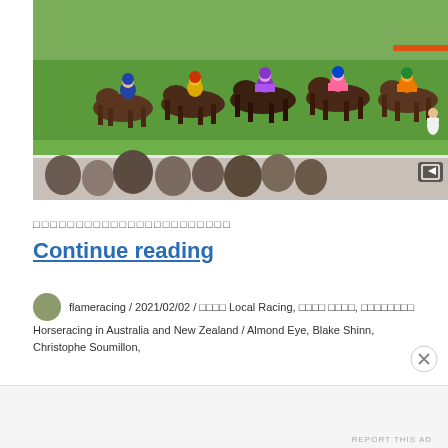[Figure (photo): Horse racing scene showing multiple jockeys and horses racing on a green turf track, with spectators visible along the fence in the foreground. A video player expand icon is visible in the bottom-right corner of the image.]
□□□□□□□□□□□□□□□□□□□□□□□
Continue reading
flameracing / 2021/02/02 / □□□□ Local Racing, □□□□ □□□□, □□□□□□□□ Horseracing in Australia and New Zealand / Almond Eye, Blake Shinn, Christophe Soumillon,
Advertisements